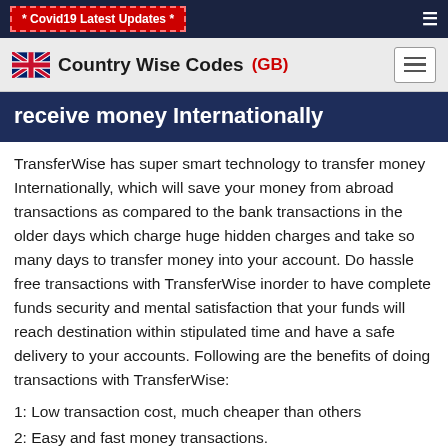* Covid19 Latest Updates *
Country Wise Codes (GB)
receive money Internationally
TransferWise has super smart technology to transfer money Internationally, which will save your money from abroad transactions as compared to the bank transactions in the older days which charge huge hidden charges and take so many days to transfer money into your account. Do hassle free transactions with TransferWise inorder to have complete funds security and mental satisfaction that your funds will reach destination within stipulated time and have a safe delivery to your accounts. Following are the benefits of doing transactions with TransferWise:
1: Low transaction cost, much cheaper than others
2: Easy and fast money transactions.